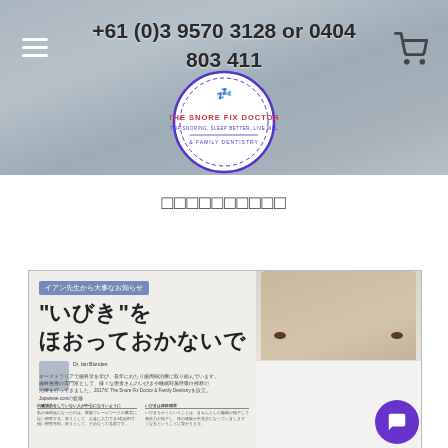+61 (0)3 9570 3128 or 0404 803 411
[Figure (logo): The Snore Fix Doctor circular logo with text 'THE SNORE FIX DOCTOR — STOP SNORING, SLEEP BETTER, LIVE WELL & FAMILY DENTISTRY']
□□□□□□□□□□
[Figure (photo): Japanese magazine article with heading 'イアン先生から大事なお知らせ' and large Japanese text 'いびき"を ほおっておかないで' (Don't ignore snoring), featuring a woman peeking over a white sheet, and article text in Japanese about snoring treatment.]